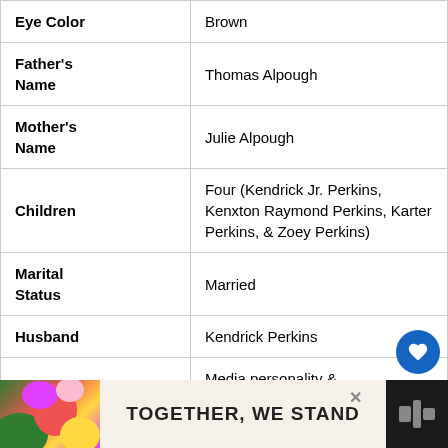| Eye Color | Brown |
| Father's Name | Thomas Alpough |
| Mother's Name | Julie Alpough |
| Children | Four (Kendrick Jr. Perkins, Kenxton Raymond Perkins, Karter Perkins, & Zoey Perkins) |
| Marital Status | Married |
| Husband | Kendrick Perkins |
| Profession | Media personality & Businesswomen |
| Net Worth | Not available |
[Figure (other): Advertisement banner at bottom: colorful abstract shapes on left, text 'TOGETHER, WE STAND' in center, close button, and logo on right]